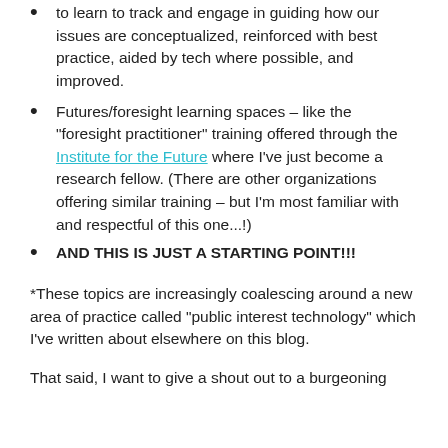to learn to track and engage in guiding how our issues are conceptualized, reinforced with best practice, aided by tech where possible, and improved.
Futures/foresight learning spaces – like the “foresight practitioner” training offered through the Institute for the Future where I’ve just become a research fellow. (There are other organizations offering similar training – but I’m most familiar with and respectful of this one...!)
AND THIS IS JUST A STARTING POINT!!!
*These topics are increasingly coalescing around a new area of practice called “public interest technology” which I’ve written about elsewhere on this blog.
That said, I want to give a shout out to a burgeoning